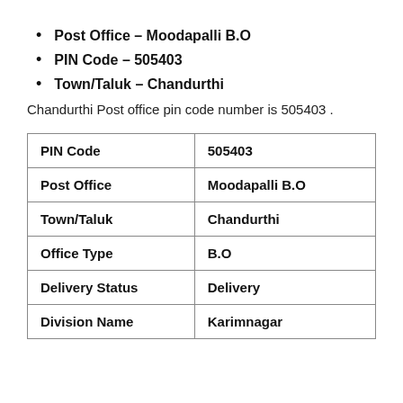Post Office – Moodapalli B.O
PIN Code – 505403
Town/Taluk – Chandurthi
Chandurthi Post office pin code number is 505403 .
| PIN Code | 505403 |
| Post Office | Moodapalli B.O |
| Town/Taluk | Chandurthi |
| Office Type | B.O |
| Delivery Status | Delivery |
| Division Name | Karimnagar |